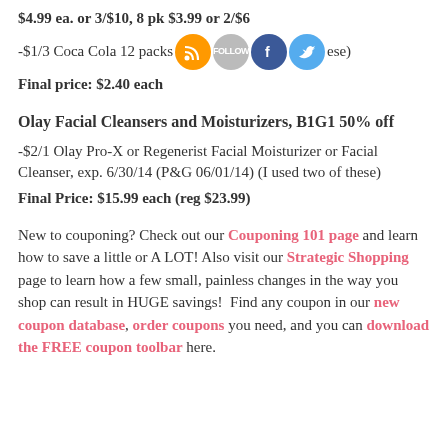$4.99 ea. or 3/$10, 8 pk $3.99 or 2/$6
-$1/3 Coca Cola 12 packs [social icons] ese)
Final price: $2.40 each
Olay Facial Cleansers and Moisturizers, B1G1 50% off
-$2/1 Olay Pro-X or Regenerist Facial Moisturizer or Facial Cleanser, exp. 6/30/14 (P&G 06/01/14) (I used two of these)
Final Price: $15.99 each (reg $23.99)
New to couponing? Check out our Couponing 101 page and learn how to save a little or A LOT! Also visit our Strategic Shopping page to learn how a few small, painless changes in the way you shop can result in HUGE savings!  Find any coupon in our new coupon database, order coupons you need, and you can download the FREE coupon toolbar here.